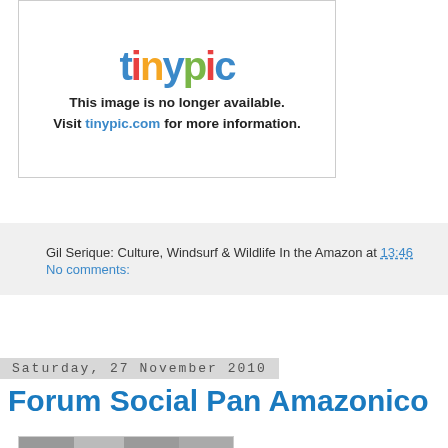[Figure (screenshot): Tinypic placeholder image showing 'This image is no longer available. Visit tinypic.com for more information.']
Gil Serique: Culture, Windsurf & Wildlife In the Amazon at 13:46
No comments:
Saturday, 27 November 2010
Forum Social Pan Amazonico
[Figure (photo): Black and white photograph of a man playing guitar]